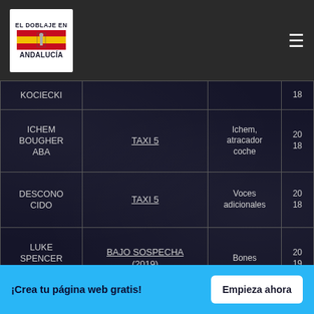El Doblaje en Andalucía — navigation header with logo and hamburger menu
| Actor | Film | Role | Year |
| --- | --- | --- | --- |
| KOCIECKI |  |  | 18 |
| ICHEM BOUGHERABA | TAXI 5 | Ichem, atracador coche | 2018 |
| DESCONOCIDO | TAXI 5 | Voces adicionales | 2018 |
| LUKE SPENCER ROBERTS | BAJO SOSPECHA (2019) | Bones | 2019 |
| BEAU KNAPP | CRYPTO | Martin | 19 |
¡Crea tu página web gratis! Empieza ahora